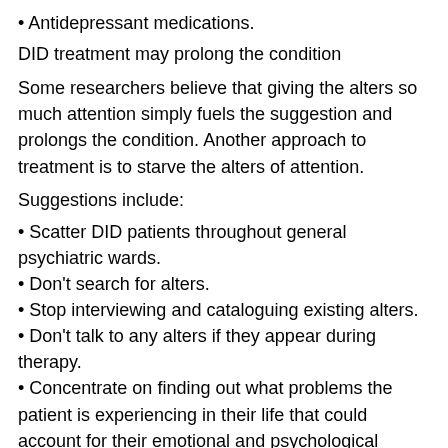• Antidepressant medications.
DID treatment may prolong the condition
Some researchers believe that giving the alters so much attention simply fuels the suggestion and prolongs the condition. Another approach to treatment is to starve the alters of attention.
Suggestions include:
• Scatter DID patients throughout general psychiatric wards.
• Don't search for alters.
• Stop interviewing and cataloguing existing alters.
• Don't talk to any alters if they appear during therapy.
• Concentrate on finding out what problems the patient is experiencing in their life that could account for their emotional and psychological disturbances.
Where to get help
• Your doctor (for a referral to a specialist service)